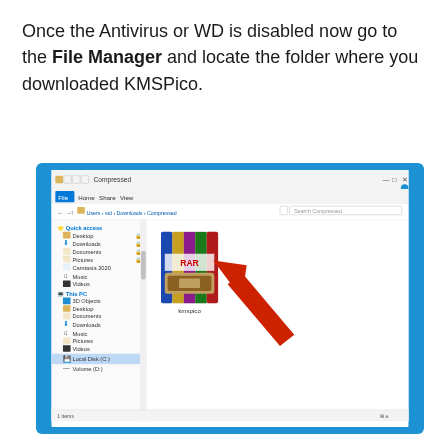Once the Antivirus or WD is disabled now go to the File Manager and locate the folder where you downloaded KMSPico.
[Figure (screenshot): Windows File Manager screenshot showing a compressed folder called 'kmspico' with a WinRAR archive icon, with a red arrow pointing to the file. The sidebar shows Quick access, Desktop, Downloads, Documents, Pictures, Camtasia 2020, Music, Videos, This PC, 3D Objects, Desktop, Documents, Downloads, Music, Pictures, Videos, Local Disk (C:), and Volume (D:). The address bar shows the path: Users > std > Downloads > Compressed. The status bar shows '1 items'.]